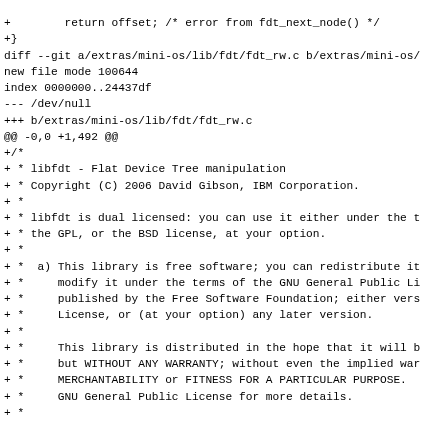+        return offset; /* error from fdt_next_node() */
+}
diff --git a/extras/mini-os/lib/fdt/fdt_rw.c b/extras/mini-os/
new file mode 100644
index 0000000..24437df
--- /dev/null
+++ b/extras/mini-os/lib/fdt/fdt_rw.c
@@ -0,0 +1,492 @@
+/*
+ * libfdt - Flat Device Tree manipulation
+ * Copyright (C) 2006 David Gibson, IBM Corporation.
+ *
+ * libfdt is dual licensed: you can use it either under the t
+ * the GPL, or the BSD license, at your option.
+ *
+ *  a) This library is free software; you can redistribute it
+ *     modify it under the terms of the GNU General Public Li
+ *     published by the Free Software Foundation; either vers
+ *     License, or (at your option) any later version.
+ *
+ *     This library is distributed in the hope that it will b
+ *     but WITHOUT ANY WARRANTY; without even the implied war
+ *     MERCHANTABILITY or FITNESS FOR A PARTICULAR PURPOSE.
+ *     GNU General Public License for more details.
+ *